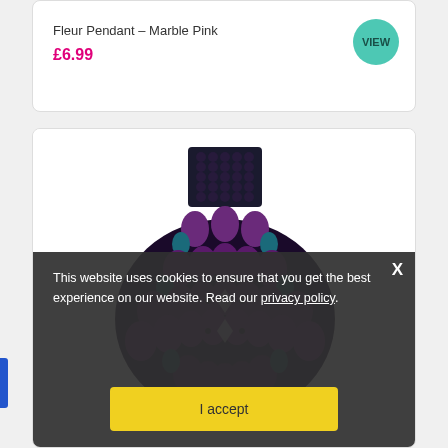Fleur Pendant – Marble Pink
£6.99
VIEW
[Figure (photo): A beaded pendant jewelry piece made of purple and teal beads arranged in a triangular/diamond shape with a rectangular bead clasp at the top, photographed on a white background.]
This website uses cookies to ensure that you get the best experience on our website. Read our privacy policy.
I accept